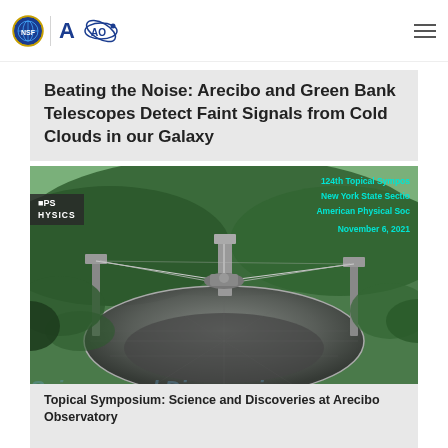NSF | AO (Arecibo Observatory) logo and navigation
Beating the Noise: Arecibo and Green Bank Telescopes Detect Faint Signals from Cold Clouds in our Galaxy
[Figure (photo): Aerial photograph of the Arecibo Observatory radio telescope dish set into a natural sinkhole in the hills of Puerto Rico, surrounded by green tropical forest. Overlaid text on the photo reads: 124th Topical Symposium / New York State Section / American Physical Society / November 6, 2021. On the left edge: APS PHYSICS logo text.]
Topical Symposium: Science and Discoveries at Arecibo Observatory